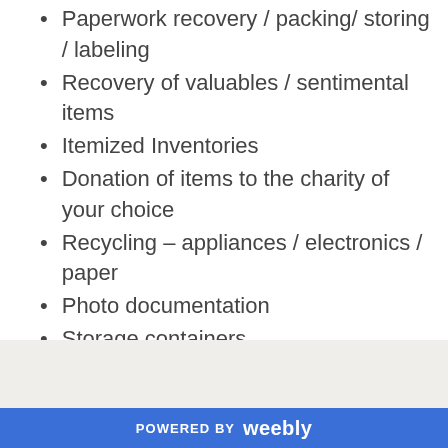Paperwork recovery / packing/ storing / labeling
Recovery of valuables / sentimental items
Itemized Inventories
Donation of items to the charity of your choice
Recycling – appliances / electronics / paper
Photo documentation
Storage containers
Therapist referral
POWERED BY weebly